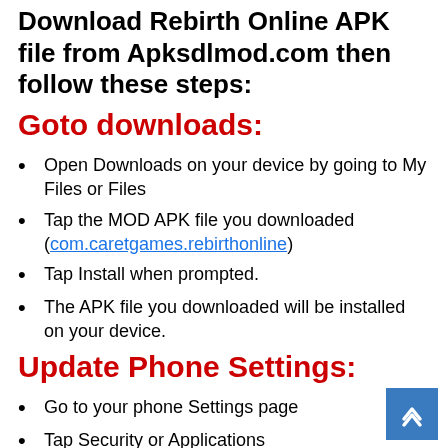Download Rebirth Online APK file from Apksdlmod.com then follow these steps:
Goto downloads:
Open Downloads on your device by going to My Files or Files
Tap the MOD APK file you downloaded (com.caretgames.rebirthonline)
Tap Install when prompted.
The APK file you downloaded will be installed on your device.
Update Phone Settings:
Go to your phone Settings page
Tap Security or Applications